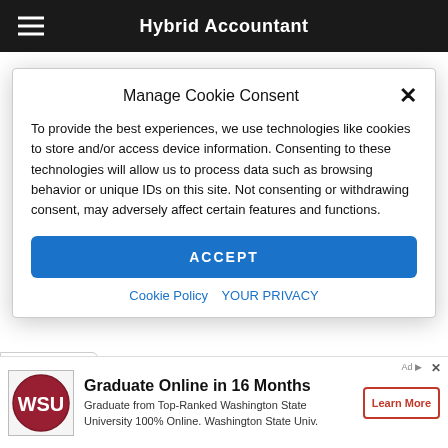Hybrid Accountant
communicating the findings from dataset investigation.
Manage Cookie Consent
To provide the best experiences, we use technologies like cookies to store and/or access device information. Consenting to these technologies will allow us to process data such as browsing behavior or unique IDs on this site. Not consenting or withdrawing consent, may adversely affect certain features and functions.
ACCEPT
Cookie Policy   YOUR PRIVACY
[Figure (screenshot): Advertisement banner for Washington State University online graduate program. Shows WSU logo, text 'Graduate Online in 16 Months', description 'Graduate from Top-Ranked Washington State University 100% Online. Washington State Univ.' and a 'Learn More' button.]